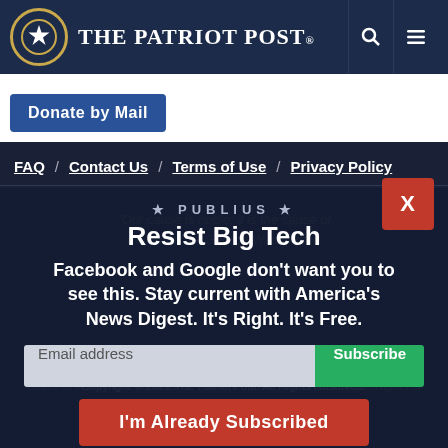The Patriot Post
Donate by Mail
FAQ  /  Contact Us  /  Terms of Use  /  Privacy Policy
Resist Big Tech
Facebook and Google don't want you to see this. Stay current with America's News Digest. It's Right. It's Free.
Email address
Subscribe
I'm Already Subscribed
Copyright © 2022 The Patriot Post. All Rights Reserved.